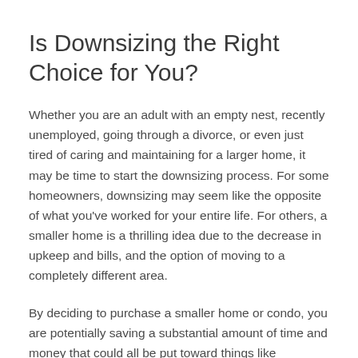Is Downsizing the Right Choice for You?
Whether you are an adult with an empty nest, recently unemployed, going through a divorce, or even just tired of caring and maintaining for a larger home, it may be time to start the downsizing process. For some homeowners, downsizing may seem like the opposite of what you've worked for your entire life. For others, a smaller home is a thrilling idea due to the decrease in upkeep and bills, and the option of moving to a completely different area.
By deciding to purchase a smaller home or condo, you are potentially saving a substantial amount of time and money that could all be put toward things like entertainment, culture, your children's savings, or that